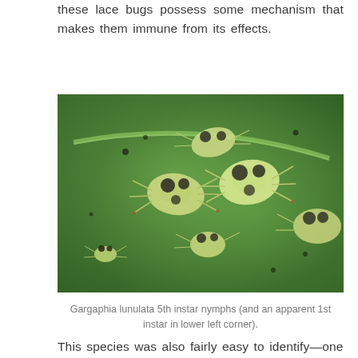these lace bugs possess some mechanism that makes them immune from its effects.
[Figure (photo): Close-up macro photograph of Gargaphia lunulata 5th instar nymphs on a green leaf surface, showing multiple translucent pale yellow-green nymphs with black markings clustered together, and a smaller 1st instar nymph visible in the lower left corner.]
Gargaphia lunulata 5th instar nymphs (and an apparent 1st instar in lower left corner).
This species was also fairly easy to identify—one of the